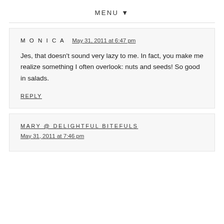MENU ▼
Monica   May 31, 2011 at 6:47 pm
Jes, that doesn't sound very lazy to me. In fact, you make me realize something I often overlook: nuts and seeds! So good in salads.
REPLY
MARY @ DELIGHTFUL BITEFULS   May 31, 2011 at 7:46 pm